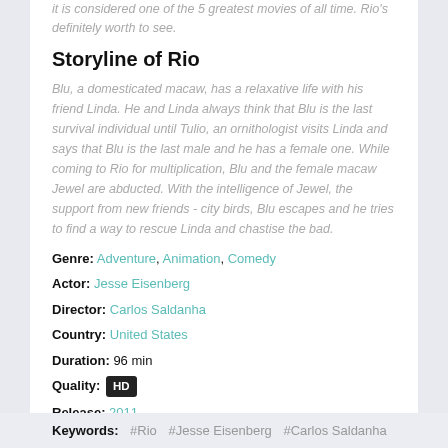it is considered one of the 5 greatest movies of all time. Rio's definitely worth to see.
Storyline of Rio
Blu, a domesticated macaw, has a relaxative life with his friend Linda. He and Linda always think that Blu is the last survival individual until Tulio, an ornithologist visits Linda and says that Blu is the last male and he has a female one. While coming to Rio for multiplication, Blu and the female macaw Jewel are abducted. With the intelligence of Jewel, the support from new friends - city birds, Blu escapes and he tries to find a way to rescue Linda and chastise the bad.
Genre: Adventure, Animation, Comedy
Actor: Jesse Eisenberg
Director: Carlos Saldanha
Country: United States
Duration: 96 min
Quality: HD
Release: 2011
IMDb: 6.9
Keywords: #Rio #Jesse Eisenberg #Carlos Saldanha